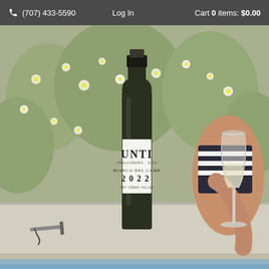(707) 433-5590   Log In   Cart 0 items: $0.00
[Figure (photo): Outdoor poolside scene with a dark green wine bottle labeled 'UNTI Bianco Del Campo 2022' standing on a concrete ledge, a wine glass with white wine held by a person in a striped swimsuit, wildflowers in the background, and a corkscrew on the ledge.]